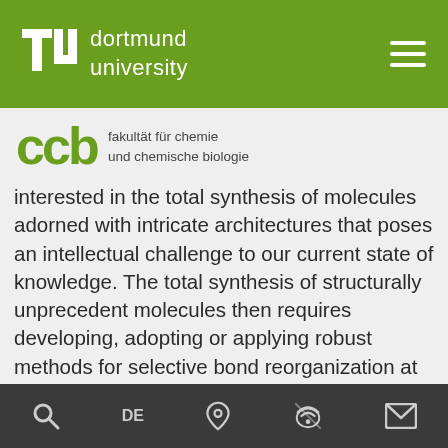tu dortmund university
[Figure (logo): CCB – Fakultät für Chemie und chemische Biologie logo with green lettering]
interested in the total synthesis of molecules adorned with intricate architectures that poses an intellectual challenge to our current state of knowledge. The total synthesis of structurally unprecedent molecules then requires developing, adopting or applying robust methods for selective bond reorganization at the molecular level. Our team is comprised of highly specialized and enthusiastic young researchers which seek to thrive, as scientists and as professionals, by researching and teaching on an internationally competitive level. Our university and the department provide state-of-the-art
Search | DE | Location | Wifi | Mail